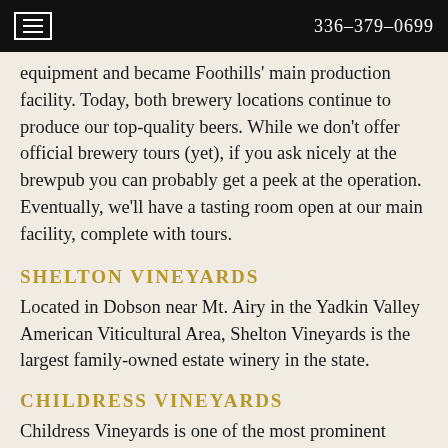336-379-0699
equipment and became Foothills' main production facility. Today, both brewery locations continue to produce our top-quality beers. While we don't offer official brewery tours (yet), if you ask nicely at the brewpub you can probably get a peek at the operation. Eventually, we'll have a tasting room open at our main facility, complete with tours.
SHELTON VINEYARDS
Located in Dobson near Mt. Airy in the Yadkin Valley American Viticultural Area, Shelton Vineyards is the largest family-owned estate winery in the state.
CHILDRESS VINEYARDS
Childress Vineyards is one of the most prominent